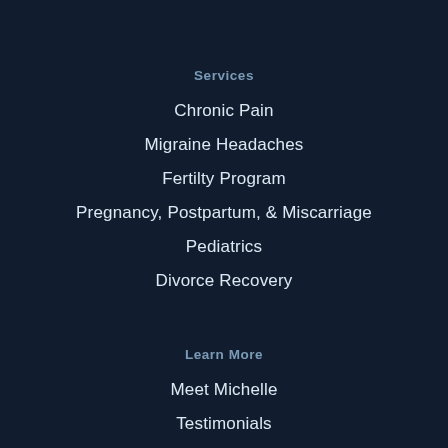Services
Chronic Pain
Migraine Headaches
Fertilty Program
Pregnancy, Postpartum, & Miscarriage
Pediatrics
Divorce Recovery
Learn More
Meet Michelle
Testimonials